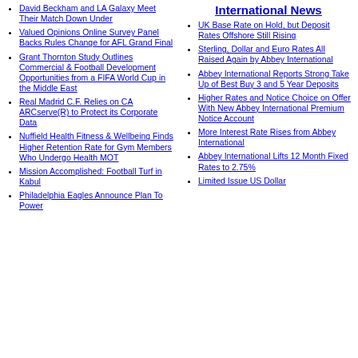International News
David Beckham and LA Galaxy Meet Their Match Down Under
Valued Opinions Online Survey Panel Backs Rules Change for AFL Grand Final
Grant Thornton Study Outlines Commercial & Football Development Opportunities from a FIFA World Cup in the Middle East
Real Madrid C.F. Relies on CA ARCserve(R) to Protect its Corporate Data
Nuffield Health Fitness & Wellbeing Finds Higher Retention Rate for Gym Members Who Undergo Health MOT
Mission Accomplished: Football Turf in Kabul
Philadelphia Eagles Announce Plan To Power
UK Base Rate on Hold, but Deposit Rates Offshore Still Rising
Sterling, Dollar and Euro Rates All Raised Again by Abbey International
Abbey International Reports Strong Take Up of Best Buy 3 and 5 Year Deposits
Higher Rates and Notice Choice on Offer With New Abbey International Premium Notice Account
More Interest Rate Rises from Abbey International
Abbey International Lifts 12 Month Fixed Rates to 2.75%
Limited Issue US Dollar